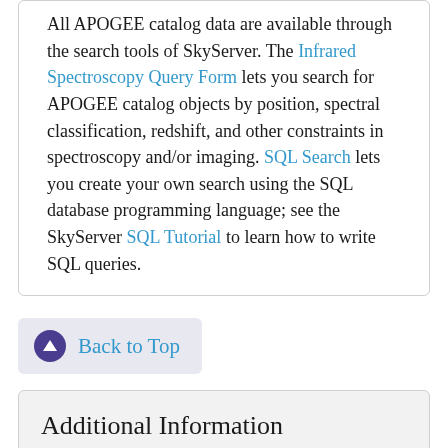All APOGEE catalog data are available through the search tools of SkyServer. The Infrared Spectroscopy Query Form lets you search for APOGEE catalog objects by position, spectral classification, redshift, and other constraints in spectroscopy and/or imaging. SQL Search lets you create your own search using the SQL database programming language; see the SkyServer SQL Tutorial to learn how to write SQL queries.
Back to Top
Additional Information
Broadly speaking, the main APOGEE data products released in DR13 are the outputs of two software pipelines. The data reduction pipeline delivers...